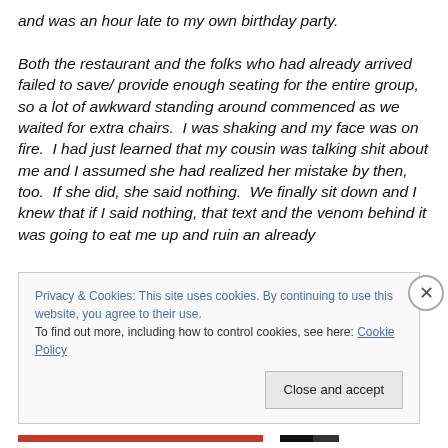and was an hour late to my own birthday party.

Both the restaurant and the folks who had already arrived failed to save/ provide enough seating for the entire group, so a lot of awkward standing around commenced as we waited for extra chairs.  I was shaking and my face was on fire.  I had just learned that my cousin was talking shit about me and I assumed she had realized her mistake by then, too.  If she did, she said nothing.  We finally sit down and I knew that if I said nothing, that text and the venom behind it was going to eat me up and ruin an already
Privacy & Cookies: This site uses cookies. By continuing to use this website, you agree to their use.
To find out more, including how to control cookies, see here: Cookie Policy